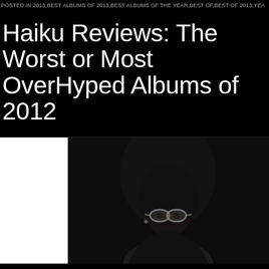POSTED IN 2013,BEST ALBUMS OF 2013,BEST ALBUMS OF THE YEAR,BEST OF,BEST OF 2013,YEA
Haiku Reviews: The Worst or Most OverHyped Albums of 2012
[Figure (photo): Album cover for Trinidad James 'Don't Be Sensitive' showing a black man with an afro and aviator glasses against a dark background. The artist name 'TRINIDAD JAMES' and title 'DON'T BE SENSITIVE' are displayed in light gray text on the dark cover.]